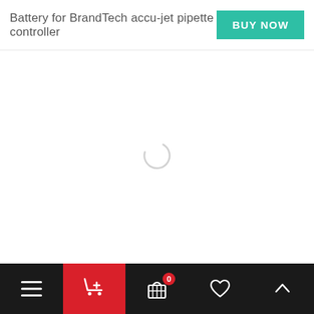Battery for BrandTech accu-jet pipette controller
[Figure (screenshot): Loading spinner (partial circle arc) centered in the main content area, indicating page content is loading]
Bottom navigation bar with menu (hamburger), add-to-cart (shopping cart with plus), cart with badge 0, wishlist (heart), and scroll-up (chevron up) icons